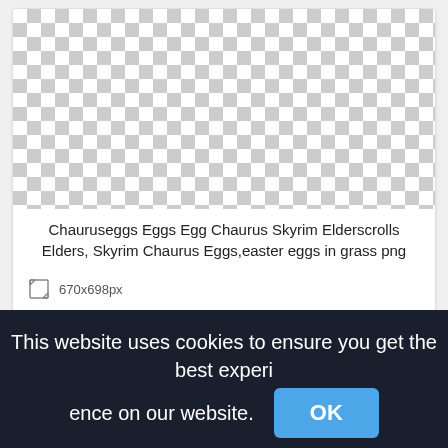[Figure (other): Checkerboard transparent image placeholder for Chaurus eggs PNG]
Chauruseggs Eggs Egg Chaurus Skyrim Elderscrolls Elders, Skyrim Chaurus Eggs,easter eggs in grass png
670x698px
[Figure (other): Second checkerboard transparent image placeholder]
This website uses cookies to ensure you get the best experience on our website.